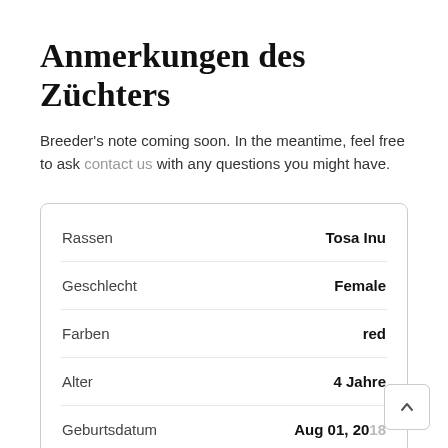Anmerkungen des Züchters
Breeder's note coming soon. In the meantime, feel free to ask contact us with any questions you might have.
| Label | Value |
| --- | --- |
| Rassen | Tosa Inu |
| Geschlecht | Female |
| Farben | red |
| Alter | 4 Jahre |
| Geburtsdatum | Aug 01, 2018 |